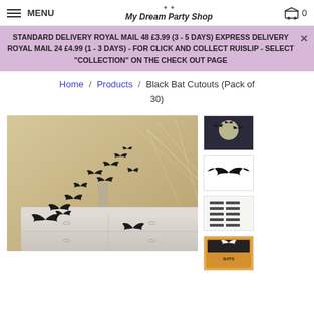MENU | My Dream Party Shop | Cart 0
STANDARD DELIVERY ROYAL MAIL 48 £3.99 (3 - 5 DAYS) EXPRESS DELIVERY ROYAL MAIL 24 £4.99 (1 - 3 DAYS) - FOR CLICK AND COLLECT RUISLIP - SELECT "COLLECTION" ON THE CHECK OUT PAGE
Home / Products / Black Bat Cutouts (Pack of 30)
[Figure (photo): Main product photo showing black bat cutouts arranged on a white dresser/mantelpiece with cobweb decorations and candles in the background]
[Figure (photo): Thumbnail 1: Bats silhouetted against a moon]
[Figure (illustration): Thumbnail 2: Single black bat illustration]
[Figure (photo): Thumbnail 3: Sheet of bat cutout pieces]
[Figure (photo): Thumbnail 4: Product packaging]